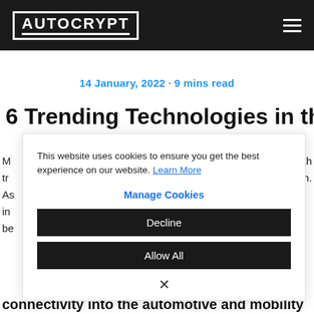AUTOCRYPT
14 January, 2022 · 9 mins read
6 Trending Technologies in the New
M... th.
tr... h.
As...
in...
be...
This website uses cookies to ensure you get the best experience on our website. Learn More
Manage Cookies
Decline
Allow All
×
connectivity into the automotive and mobility